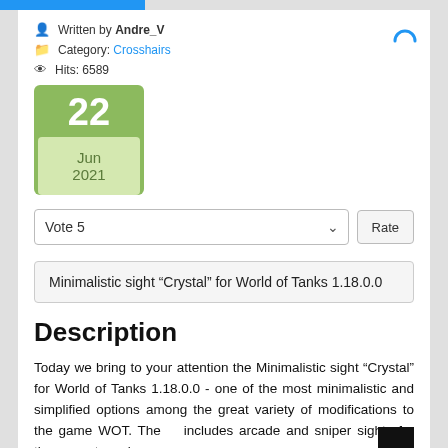Written by Andre_V
Category: Crosshairs
Hits: 6589
22 Jun 2021
Vote 5
Minimalistic sight “Crystal” for World of Tanks 1.18.0.0
Description
Today we bring to your attention the Minimalistic sight “Crystal” for World of Tanks 1.18.0.0 - one of the most minimalistic and simplified options among the great variety of modifications to the game WOT. The mod includes arcade and sniper sights for the current version